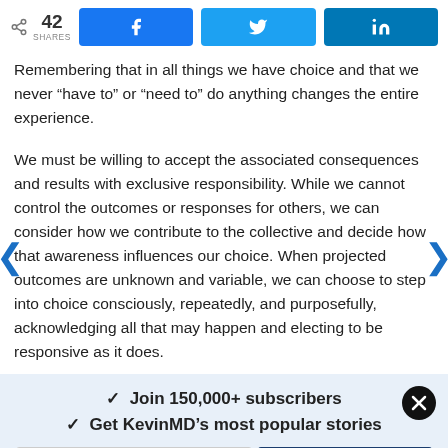42 SHARES | Facebook share | Twitter share | LinkedIn share
Remembering that in all things we have choice and that we never “have to” or “need to” do anything changes the entire experience.
We must be willing to accept the associated consequences and results with exclusive responsibility. While we cannot control the outcomes or responses for others, we can consider how we contribute to the collective and decide how that awareness influences our choice. When projected outcomes are unknown and variable, we can choose to step into choice consciously, repeatedly, and purposefully, acknowledging all that may happen and electing to be responsive as it does.
✓ Join 150,000+ subscribers
✓ Get KevinMD’s most popular stories
Email | Subscribe. It’s free.